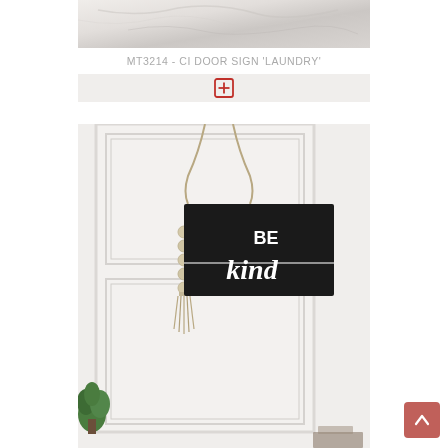[Figure (photo): Top portion of a marble surface product photo, cropped at top]
MT3214 - CI DOOR SIGN 'LAUNDRY'
[Figure (other): Add to cart / expand button area with a red plus icon in a square outline]
[Figure (photo): Photo of a black rectangular hanging door sign with rope and wooden bead tassel, reading 'BE kind' in white text, hung on a white paneled door]